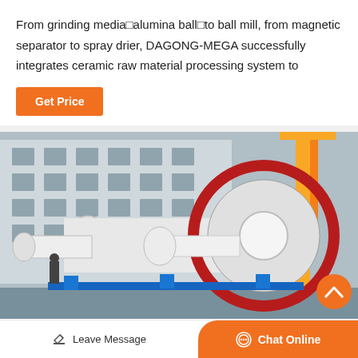From grinding media□alumina ball□to ball mill, from magnetic separator to spray drier, DAGONG-MEGA successfully integrates ceramic raw material processing system to
[Figure (other): Orange 'Get Price' button]
[Figure (photo): Industrial ball mill machinery photographed outdoors in a factory yard. Large white cylindrical ball mill with red gear ring visible, blue support structure, worker visible to the left, industrial building in background, yellow crane structure on right.]
Leave Message
Chat Online